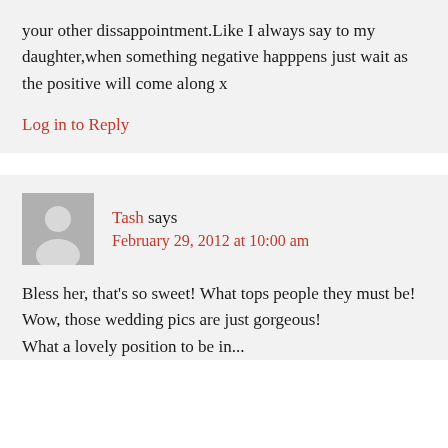your other dissappointment.Like I always say to my daughter,when something negative happpens just wait as the positive will come along x
Log in to Reply
Tash says
February 29, 2012 at 10:00 am
Bless her, that's so sweet! What tops people they must be!
Wow, those wedding pics are just gorgeous!
What a lovely position to be in...